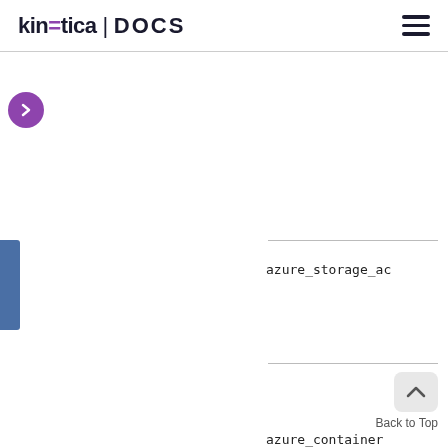kinetica | DOCS
[Figure (screenshot): Documentation page layout with three-column structure, purple chevron navigation button, blue sidebar bar, and azure_storage_ac text entry, with Back to Top button at bottom right]
azure_storage_ac
Back to Top
azure_container